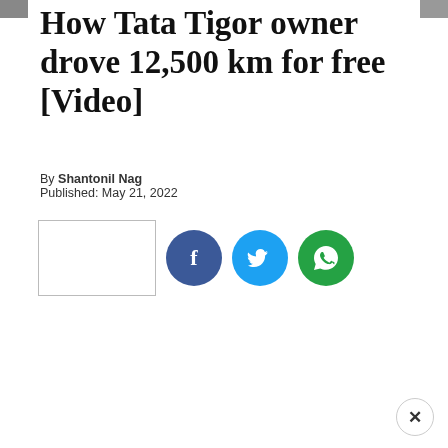How Tata Tigor owner drove 12,500 km for free [Video]
By Shantonil Nag
Published: May 21, 2022
[Figure (other): Share buttons row: blank share box, Facebook button, Twitter button, WhatsApp button]